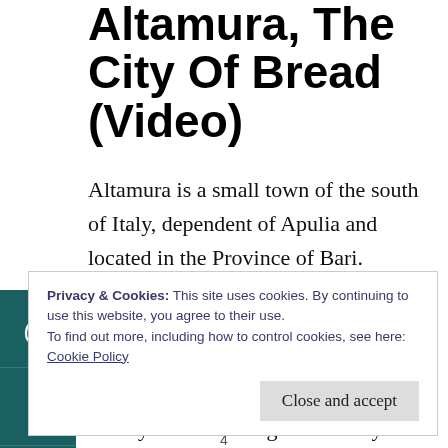Altamura, The City Of Bread (Video)
Altamura is a small town of the south of Italy, dependent of Apulia and located in the Province of Bari. Altamura can be found in the hill of Murge, very close to the city of Bari. There are many ancient locations that have inhabited the area throughout history. There is a legend that says that the city of Altamura
Privacy & Cookies: This site uses cookies. By continuing to use this website, you agree to their use.
To find out more, including how to control cookies, see here:
Cookie Policy
4